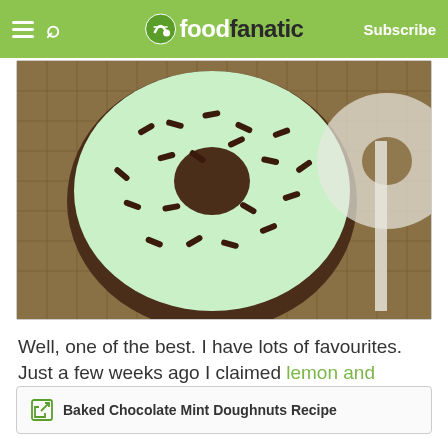foodfanatic — Subscribe
[Figure (photo): Close-up photo of a chocolate mint doughnut with green/white icing and chocolate sprinkles, placed on burlap material]
Well, one of the best. I have lots of favourites. Just a few weeks ago I claimed lemon and cranberry was the best combo, and this couldn't be more different.
I'm okay with having many favourites in the food world.
Baked Chocolate Mint Doughnuts Recipe